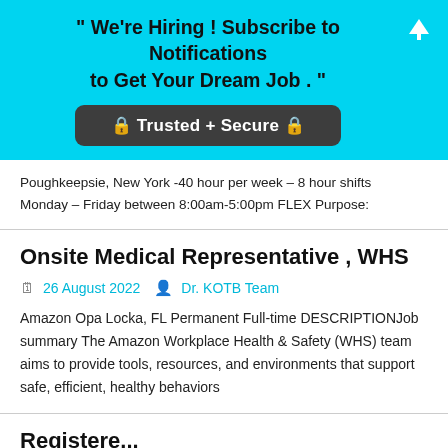" We're Hiring ! Subscribe to Notifications to Get Your Dream Job . "
🔒 Trusted + Secure 🔒
Poughkeepsie, New York -40 hour per week – 8 hour shifts Monday – Friday between 8:00am-5:00pm FLEX Purpose:
Onsite Medical Representative , WHS
26 August 2022   Dr. KOTB Team
Amazon Opa Locka, FL Permanent Full-time DESCRIPTIONJob summary The Amazon Workplace Health & Safety (WHS) team aims to provide tools, resources, and environments that support safe, efficient, healthy behaviors